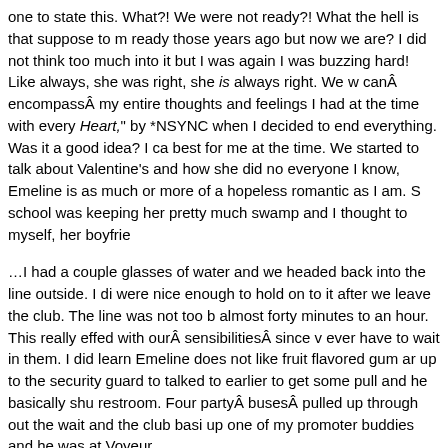one to state this. What?! We were not ready?! What the hell is that suppose to mean? We were not ready those years ago but now we are? I did not think too much into it but I was on a high again I was buzzing hard! Like always, she was right, she is always right. We w... canÂ encompassÂ my entire thoughts and feelings I had at the time with every ... Heart," by *NSYNC when I decided to end everything. Was it a good idea? I can... best for me at the time. We started to talk about Valentine's and how she did no... everyone I know, Emeline is as much or more of a hopeless romantic as I am. S... school was keeping her pretty much swamp and I thought to myself, her boyfrie...
…I had a couple glasses of water and we headed back into the line outside. I di... were nice enough to hold on to it after we leave the club. The line was not too b... almost forty minutes to an hour. This really effed with ourÂ sensibilitiesÂ since v... ever have to wait in them. I did learn Emeline does not like fruit flavored gum ar... up to the security guard to talked to earlier to get some pull and he basically shu... restroom. Four partyÂ busesÂ pulled up through out the wait and the club basic... up one of my promoter buddies and he was at Voyeur.
…we headed that way and valeted. Dude it was twenty dollars to valet! Really?!... not get in because all promoters are all talk. But we really wanted to dance so I... tried to get in but of course, the typical promoter bullshit. He had us waiting outs... any concrete answer. What even pissed me off even more was that the DJ play... songs I wanted to dance to as well. With the usual Hollywood scene celebrities ... and Brittney Gastineau.
…the night ended up a bust but I was totally sober. Actually I sobered up while v...